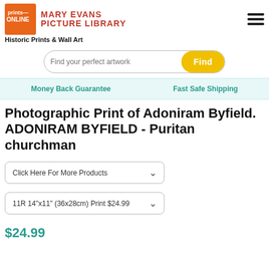[Figure (logo): Prints Online logo with orange square and text, beside Mary Evans Picture Library red text logo]
Historic Prints & Wall Art
[Figure (screenshot): Search bar with placeholder 'Find your perfect artwork' and yellow 'Find' button]
Money Back Guarantee    Fast Safe Shipping
Photographic Print of Adoniram Byfield. ADONIRAM BYFIELD - Puritan churchman
Click Here For More Products
11R 14"x11" (36x28cm) Print $24.99
$24.99